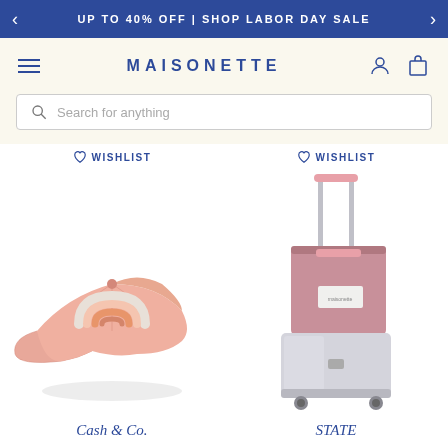UP TO 40% OFF | SHOP LABOR DAY SALE
[Figure (screenshot): Maisonette e-commerce website navigation with logo, hamburger menu, user and cart icons, and search bar]
WISHLIST
WISHLIST
[Figure (photo): Pink baseball cap with embroidered rainbow design by Cash & Co.]
[Figure (photo): Pink and silver rolling luggage set by STATE]
Cash & Co.
STATE